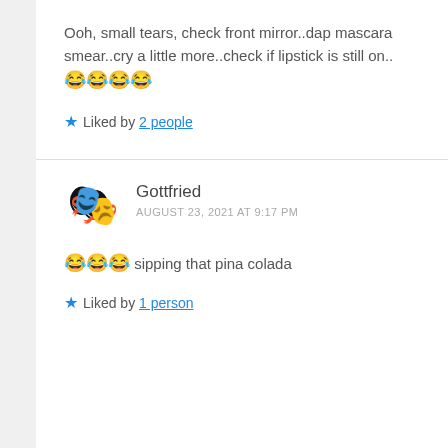Ooh, small tears, check front mirror..dap mascara smear..cry a little more..check if lipstick is still on.. 😂😂😂😂
★ Liked by 2 people
Gottfried AUGUST 23, 2021 AT 9:17 PM
😂😂😂 sipping that pina colada
★ Liked by 1 person